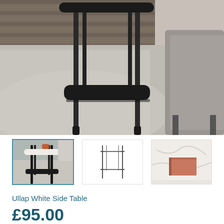[Figure (photo): Close-up photo of a black metal side table with a rounded rectangular shelf, sitting on a light grey carpet. A grey sofa corner is visible on the right side. Wooden floor visible at top.]
[Figure (photo): Thumbnail 1: Full view of the Ullap White Side Table in a room setting with black metal frame and white top surface.]
[Figure (engineering-diagram): Thumbnail 2: Line drawing/schematic of the side table showing front elevation with two shelves and four legs.]
[Figure (photo): Thumbnail 3: Close-up of the white marble-look table top surface with a terracotta/pink book on it.]
Ullap White Side Table
£95.00